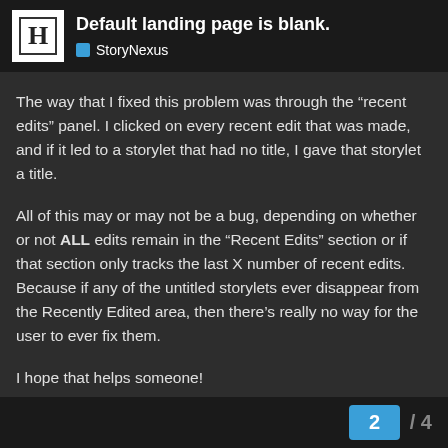Default landing page is blank. — StoryNexus
The way that I fixed this problem was through the “recent edits” panel. I clicked on every recent edit that was made, and if it led to a storylet that had no title, I gave that storylet a title.
All of this may or may not be a bug, depending on whether or not ALL edits remain in the “Recent Edits” section or if that section only tracks the last X number of recent edits. Because if any of the untitled storylets ever disappear from the Recently Edited area, then there’s really no way for the user to ever fix them.
I hope that helps someone!
/Misty
2 / 4